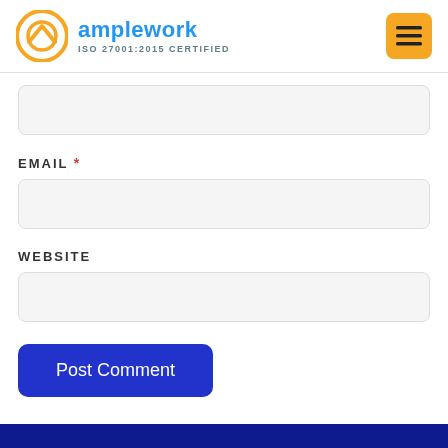amplework ISO 27001:2015 CERTIFIED
[Figure (other): Empty text input field (first field, partially visible at top)]
EMAIL *
[Figure (other): Empty email input field]
WEBSITE
[Figure (other): Empty website input field]
Post Comment
[Figure (other): Dark blue footer bar at bottom of page]